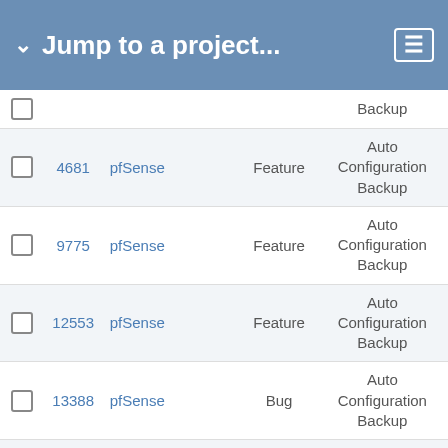Jump to a project...
|  | # | Project | Type | Category |
| --- | --- | --- | --- | --- |
|  |  |  |  | Backup |
|  | 4681 | pfSense | Feature | Auto Configuration Backup |
|  | 9775 | pfSense | Feature | Auto Configuration Backup |
|  | 12553 | pfSense | Feature | Auto Configuration Backup |
|  | 13388 | pfSense | Bug | Auto Configuration Backup |
|  | 12767 | pfSense Packages | Bug | Avahi |
|  | 12329 | pfSense Packages | Feature | Avahi |
|  | 13039 | pfSense Packages | Feature | AWS VPC |